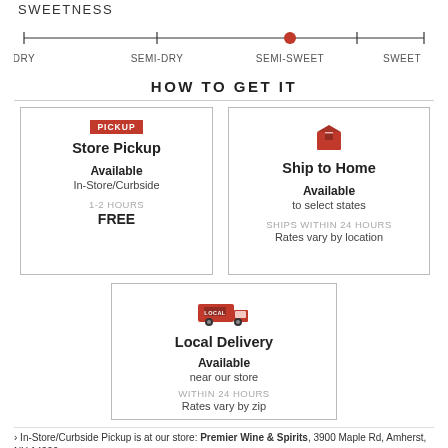SWEETNESS
[Figure (infographic): Sweetness scale showing a horizontal line with markers for DRY, SEMI-DRY, SEMI-SWEET, SWEET. A red dot indicator is positioned at SEMI-SWEET.]
HOW TO GET IT
Store Pickup
Available
In-Store/Curbside
1-2 HOURS
FREE
Ship to Home
Available
to select states
SHIPS WITHIN 24 HOURS
Rates vary by location
Local Delivery
Available
near our store
WITHIN 24 HOURS
Rates vary by zip
› In-Store/Curbside Pickup is at our store: Premier Wine & Spirits, 3900 Maple Rd, Amherst, NY 14226